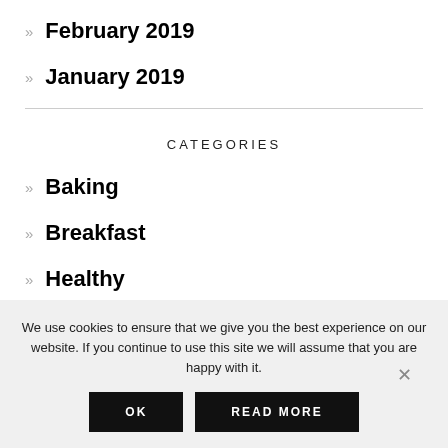» February 2019
» January 2019
CATEGORIES
» Baking
» Breakfast
» Healthy
We use cookies to ensure that we give you the best experience on our website. If you continue to use this site we will assume that you are happy with it.
OK
READ MORE